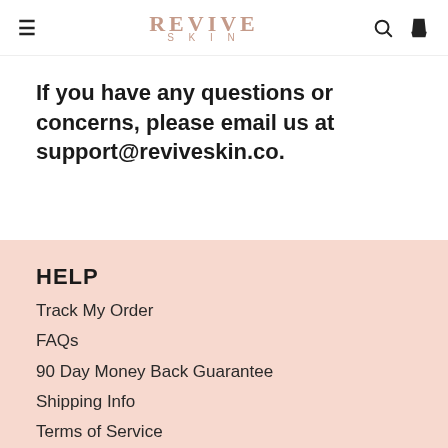REVIVE SKIN
If you have any questions or concerns, please email us at support@reviveskin.co.
HELP
Track My Order
FAQs
90 Day Money Back Guarantee
Shipping Info
Terms of Service